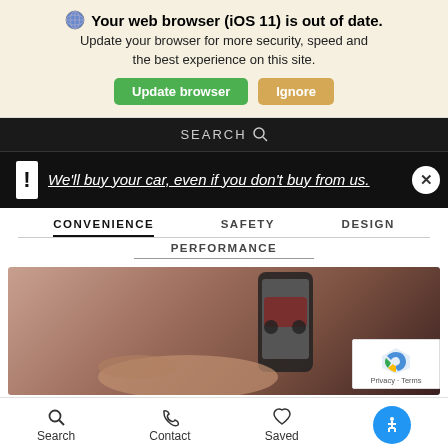Your web browser (iOS 11) is out of date. Update your browser for more security, speed and the best experience on this site. [Update browser] [Ignore]
[Figure (screenshot): Search bar stripe showing partial 'SEARCH' text with magnifier icon on black background]
We'll buy your car, even if you don't buy from us.
CONVENIENCE   SAFETY   DESIGN
PERFORMANCE
[Figure (photo): Close-up of hands holding a smartphone with a car image on the screen, warm brownish-red background. reCAPTCHA badge visible in lower right corner showing Privacy - Terms.]